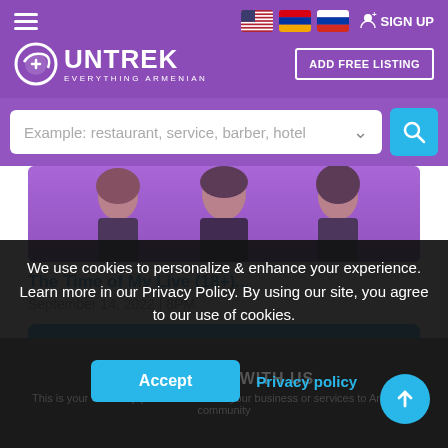UNTREK - EVERYTHING ARMENIAN
Example: restaurant, service, barber, hotel
[Figure (photo): Three people (two women, one man) posing against a purple background for an event]
The Time of My Live (18+)...
September 14, 2022 | 8PM.
More Events
We use cookies to personalize & enhance your experience. Learn more in our Privacy Policy. By using our site, you agree to our use of cookies.
ADVERTISE WITH US
This is your One Stop place to advertise your business or services to Armenian community
Accept
Privacy policy